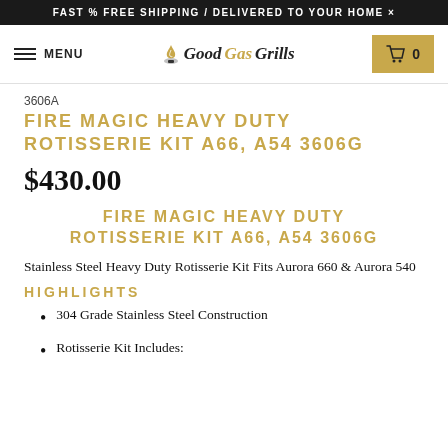FAST % FREE SHIPPING / DELIVERED TO YOUR HOME ×
[Figure (screenshot): Navigation bar with hamburger menu, Good Gas Grills logo with flame icon, and shopping cart button showing 0 items]
3606A
FIRE MAGIC HEAVY DUTY ROTISSERIE KIT A66, A54 3606G
$430.00
FIRE MAGIC HEAVY DUTY ROTISSERIE KIT A66, A54 3606G
Stainless Steel Heavy Duty Rotisserie Kit Fits Aurora 660 & Aurora 540
HIGHLIGHTS
304 Grade Stainless Steel Construction
Rotisserie Kit Includes: